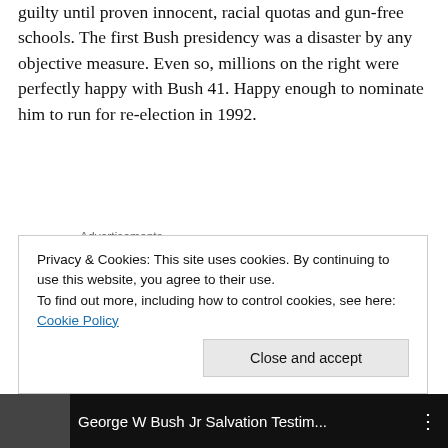guilty until proven innocent, racial quotas and gun-free schools. The first Bush presidency was a disaster by any objective measure. Even so, millions on the right were perfectly happy with Bush 41. Happy enough to nominate him to run for re-election in 1992.
Advertisements
And in 1999, millions were still sufficiently blinded by party labels to support HW's son W when he announced that he would run for president in 2000. And when, during a
Privacy & Cookies: This site uses cookies. By continuing to use this website, you agree to their use.
To find out more, including how to control cookies, see here: Cookie Policy
Close and accept
[Figure (screenshot): Video bar at bottom showing 'George W Bush Jr Salvation Testim...' with dark background and three-dot menu icon]